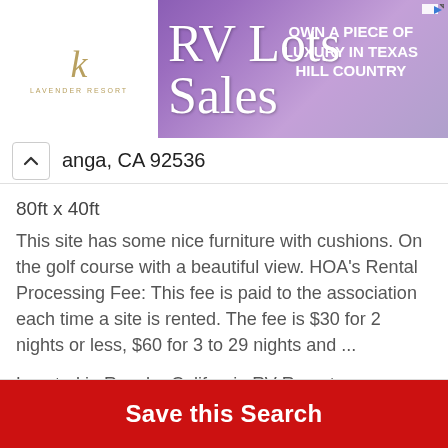[Figure (screenshot): Advertisement banner for RV Lots for Sale — Lavender Resort logo on white background left side, cursive 'RV Lots Sales' text over purple lavender background, text 'OWN A PIECE OF LUXURY IN TEXAS HILL COUNTRY' on right]
anga, CA 92536
80ft x 40ft
This site has some nice furniture with cushions. On the golf course with a beautiful view. HOA's Rental Processing Fee: This fee is paid to the association each time a site is rented. The fee is $30 for 2 nights or less, $60 for 3 to 29 nights and ...
Located in Rancho California RV Resort
Save this Search